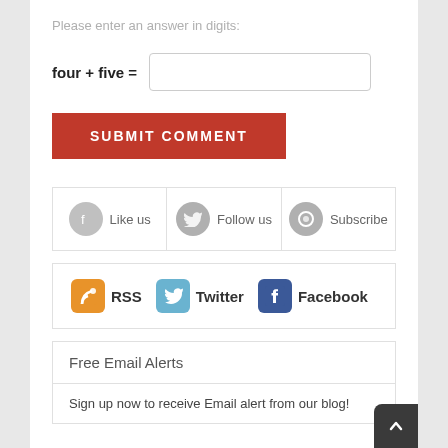Please enter an answer in digits:
four + five =
SUBMIT COMMENT
Like us
Follow us
Subscribe
RSS  Twitter  Facebook
Free Email Alerts
Sign up now to receive Email alert from our blog!